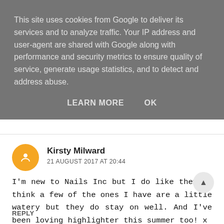This site uses cookies from Google to deliver its services and to analyze traffic. Your IP address and user-agent are shared with Google along with performance and security metrics to ensure quality of service, generate usage statistics, and to detect and address abuse.
LEARN MORE    OK
Kirsty Milward
21 AUGUST 2017 AT 20:44
I'm new to Nails Inc but I do like them, I think a few of the ones I have are a little watery but they do stay on well. And I've been loving highlighter this summer too! x
REPLY